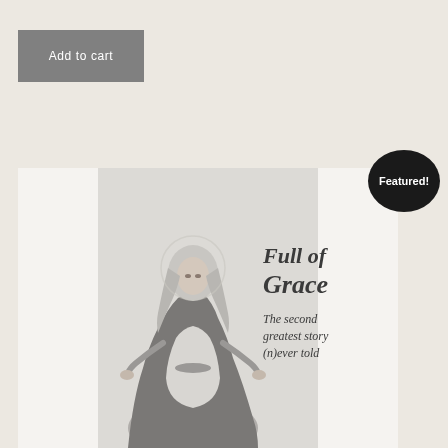Add to cart
[Figure (illustration): Book cover of 'Full of Grace: The second greatest story (n)ever told' featuring a grayscale illustration of the Virgin Mary in robes with arms slightly outstretched, with text on the right side of the cover]
Featured!